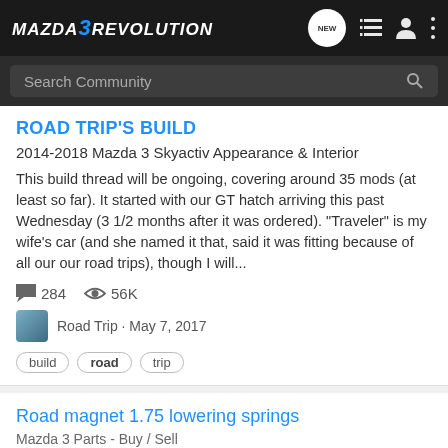MAZDA 3 REVOLUTION
Search Community
ROAD TRIP'S BUILD
2014-2018 Mazda 3 Skyactiv Appearance & Interior
This build thread will be ongoing, covering around 35 mods (at least so far). It started with our GT hatch arriving this past Wednesday (3 1/2 months after it was ordered). "Traveler" is my wife's car (and she named it that, said it was fitting because of all our our road trips), though I will...
284   56K
Road Trip · May 7, 2017
build
road
trip
Road magnet 1.75 lowering springs
Mazda 3 Parts - Buy / Sell